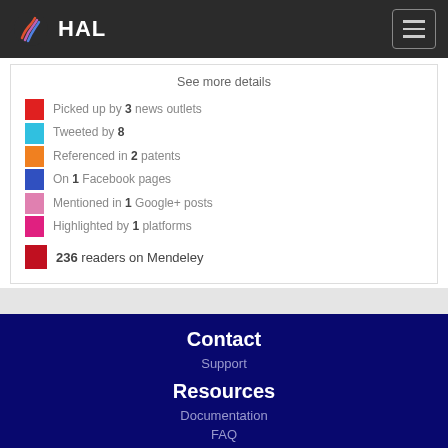HAL
See more details
Picked up by 3 news outlets
Tweeted by 8
Referenced in 2 patents
On 1 Facebook pages
Mentioned in 1 Google+ posts
Highlighted by 1 platforms
236 readers on Mendeley
Contact
Support
Resources
Documentation
FAQ